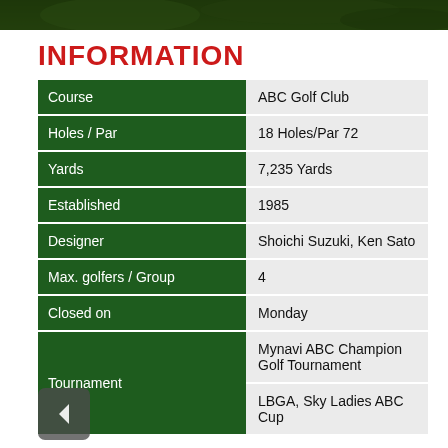[Figure (photo): Dark green nature/golf course photo strip at top of page]
INFORMATION
|  |  |
| --- | --- |
| Course | ABC Golf Club |
| Holes / Par | 18 Holes/Par 72 |
| Yards | 7,235 Yards |
| Established | 1985 |
| Designer | Shoichi Suzuki, Ken Sato |
| Max. golfers / Group | 4 |
| Closed on | Monday |
| Tournament | Mynavi ABC Champion Golf Tournament |
|  | LBGA, Sky Ladies ABC Cup |